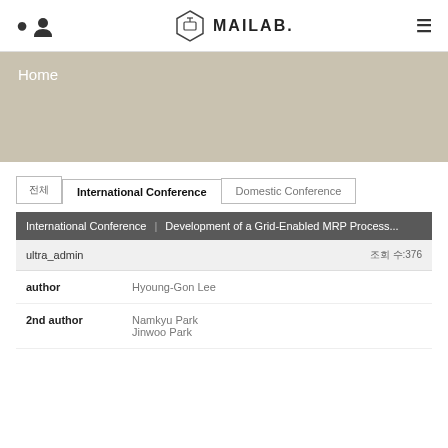MAILAB.
Home
International Conference | Domestic Conference tabs
| International Conference | Development of a Grid-Enabled MRP Process... |
| --- | --- |
| ultra_admin | 조회 수:376 |
| author | Hyoung-Gon Lee |
| 2nd author | Namkyu Park
Jinwoo Park |